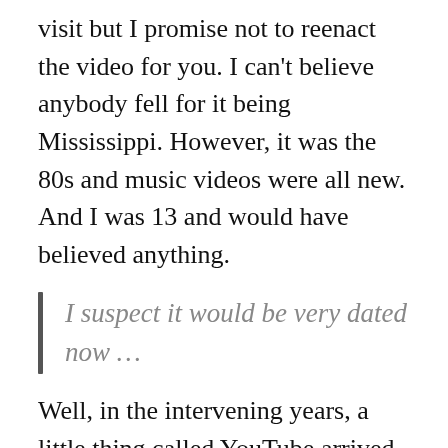visit but I promise not to reenact the video for you. I can't believe anybody fell for it being Mississippi. However, it was the 80s and music videos were all new. And I was 13 and would have believed anything.
I suspect it would be very dated now …
Well, in the intervening years, a little thing called YouTube arrived which means I can now watch the original video and confirm it's datedness or not. And I can embed it in the post itself for you to make up your mind. The pace of change, huh? You get to see how much like a cloudy day in England it appears to be. That's the British weather for you.